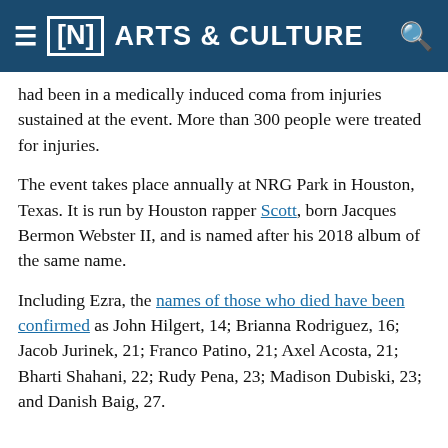≡ [N] ARTS & CULTURE 🔍
had been in a medically induced coma from injuries sustained at the event. More than 300 people were treated for injuries.
The event takes place annually at NRG Park in Houston, Texas. It is run by Houston rapper Scott, born Jacques Bermon Webster II, and is named after his 2018 album of the same name.
Including Ezra, the names of those who died have been confirmed as John Hilgert, 14; Brianna Rodriguez, 16; Jacob Jurinek, 21; Franco Patino, 21; Axel Acosta, 21; Bharti Shahani, 22; Rudy Pena, 23; Madison Dubiski, 23; and Danish Baig, 27.